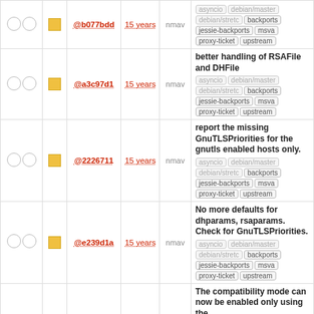|  |  | hash | age | author | description |
| --- | --- | --- | --- | --- | --- |
| ○ ○ | ☐ | @b077bdd | 15 years | nmav | asyncio debian/master debian/stretch backports jessie-backports msva proxy-ticket upstream |
| ○ ○ | ☐ | @a3c97d1 | 15 years | nmav | better handling of RSAFile and DHFile
asyncio debian/master debian/stretch backports jessie-backports msva proxy-ticket upstream |
| ○ ○ | ☐ | @2226711 | 15 years | nmav | report the missing GnuTLSPriorities for the gnutls enabled hosts only.
asyncio debian/master debian/stretch backports jessie-backports msva proxy-ticket upstream |
| ○ ○ | ☐ | @e239d1a | 15 years | nmav | No more defaults for dhparams, rsaparams. Check for GnuTLSPriorities.
asyncio debian/master debian/stretch backports jessie-backports msva proxy-ticket upstream |
| ○ ○ | ☐ | @ea470be | 15 years | nmav | The compatibility mode can now be enabled only using the …
asyncio debian/master debian/stretch backports jessie-backports msva proxy-ticket upstream |
| ○ ○ | ☐ | @af4998e | 15 years | nmav | asyncio debian/master debian/stretch backports jessie-backports msva proxy-ticket upstream |